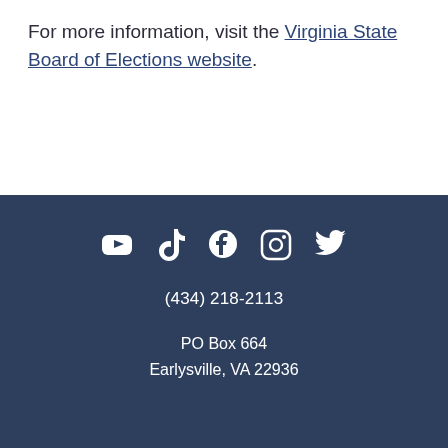For more information, visit the Virginia State Board of Elections website.
(434) 218-2113
PO Box 664
Earlysville, VA 22936